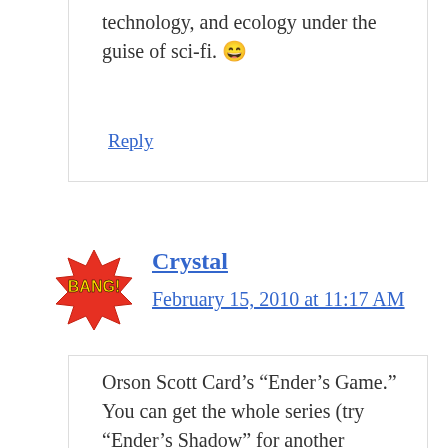technology, and ecology under the guise of sci-fi. 😁
Reply
[Figure (illustration): Bang comic-style avatar icon with yellow text BANG! on a red starburst shape]
Crystal
February 15, 2010 at 11:17 AM
Orson Scott Card's “Ender’s Game.” You can get the whole series (try “Ender’s Shadow” for another character’s POV) or just standalone. My mom is now teaching “Ender’s Game” in her middle school lit classes